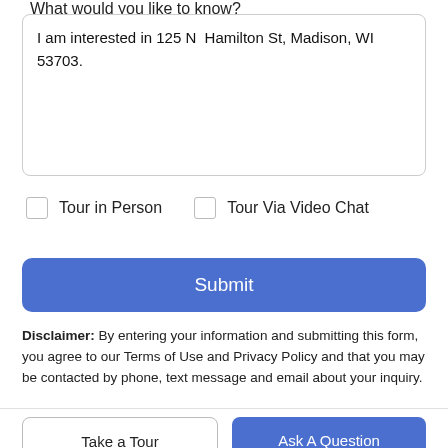What would you like to know?
I am interested in 125 N  Hamilton St, Madison, WI 53703.
Tour in Person
Tour Via Video Chat
Submit
Disclaimer: By entering your information and submitting this form, you agree to our Terms of Use and Privacy Policy and that you may be contacted by phone, text message and email about your inquiry.
Take a Tour
Ask A Question